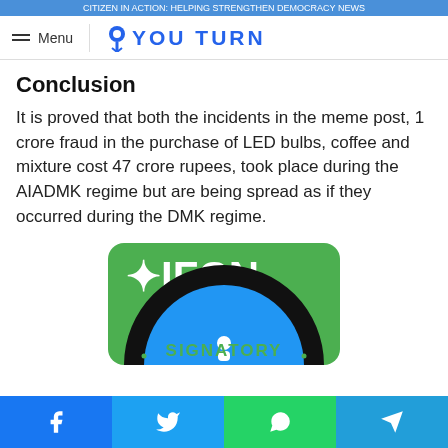CITIZEN IN ACTION: HELPING STRENGTHEN DEMOCRACY NEWS
Menu  YOU TURN
Conclusion
It is proved that both the incidents in the meme post, 1 crore fraud in the purchase of LED bulbs, coffee and mixture cost 47 crore rupees, took place during the AIADMK regime but are being spread as if they occurred during the DMK regime.
[Figure (logo): IFCN @ Poynter SIGNATORY badge — green background with star logo and SIGNATORY text in black arc]
Social share buttons: Facebook, Twitter, WhatsApp, Telegram